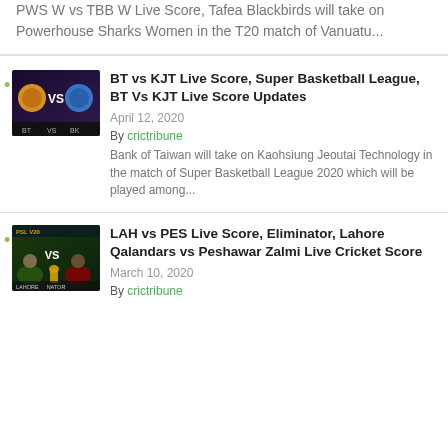PWS W vs TBB W Live Score, Tafea Blackbirds will take on Powerhouse Sharks Women in the T20 match of Vanuatu...
[Figure (photo): BT vs KJT basketball match graphic showing VS logo with team emblems]
BT vs KJT Live Score, Super Basketball League, BT Vs KJT Live Score Updates
April 12, 2020
By crictribune
Bank of Taiwan will take on Kaohsiung Jeoutai Technology in the match of Super Basketball League 2020 which will be played among...
[Figure (photo): LAH vs PES cricket match graphic showing Lahore Qalandars vs Peshawar Zalmi players with trophy]
LAH vs PES Live Score, Eliminator, Lahore Qalandars vs Peshawar Zalmi Live Cricket Score
March 10, 2020
By crictribune